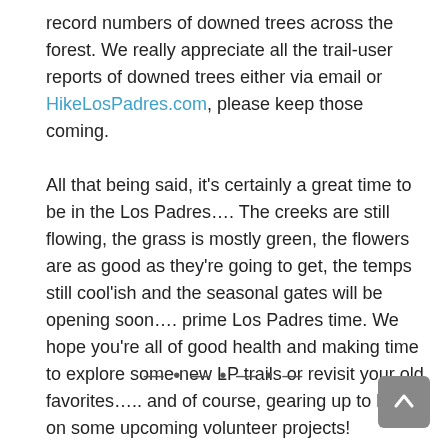record numbers of downed trees across the forest. We really appreciate all the trail-user reports of downed trees either via email or HikeLosPadres.com, please keep those coming.
All that being said, it's certainly a great time to be in the Los Padres…. The creeks are still flowing, the grass is mostly green, the flowers are as good as they're going to get, the temps still cool'ish and the seasonal gates will be opening soon…. prime Los Padres time. We hope you're all of good health and making time to explore some new LP trails or revisit your old favorites….. and of course, gearing up to help on some upcoming volunteer projects!